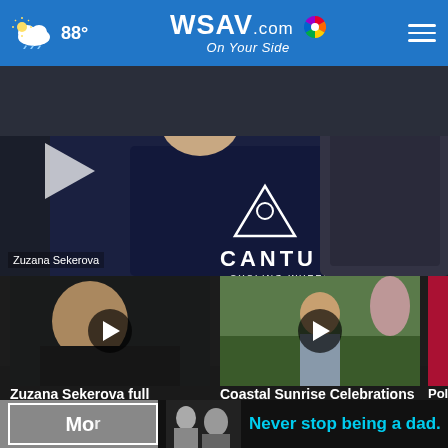88° WSAV.com On Your Side
[Figure (screenshot): Main video thumbnail showing person in Cantu Cycling Wheels shirt sitting on couch, with large play button]
Zuzana Sekerova
[Figure (screenshot): Video thumbnail of Zuzana Sekerova with play button overlay]
Zuzana Sekerova full interview
3 hours ago
[Figure (screenshot): Video thumbnail of child outdoors with play button overlay]
Coastal Sunrise Celebrations for...
7 hours ago
[Figure (screenshot): Partially visible thumbnail in pink/red, partially cropped]
Police missin
[Figure (photo): Black and white photo of two people, advertisement image]
Never stop being a dad.
Mo